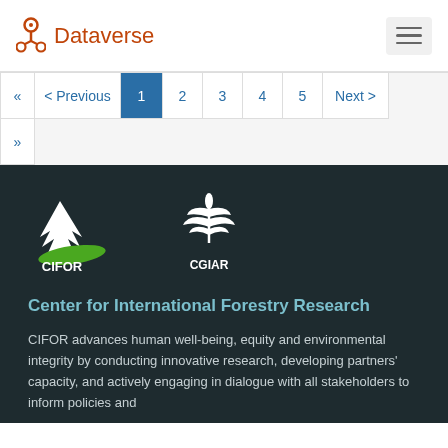Dataverse
« < Previous 1 2 3 4 5 Next > »
[Figure (logo): CIFOR and CGIAR logos on dark background]
Center for International Forestry Research
CIFOR advances human well-being, equity and environmental integrity by conducting innovative research, developing partners' capacity, and actively engaging in dialogue with all stakeholders to inform policies and